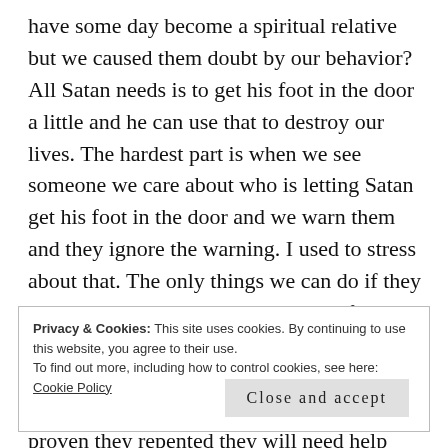have some day become a spiritual relative but we caused them doubt by our behavior? All Satan needs is to get his foot in the door a little and he can use that to destroy our lives. The hardest part is when we see someone we care about who is letting Satan get his foot in the door and we warn them and they ignore the warning. I used to stress about that. The only things we can do if they do not head our warning is be their if they make the error and realize their mistake and repent. They usually have to rebuild their lives and relationships. Once they have proven they repented they will need help because often times many
Privacy & Cookies: This site uses cookies. By continuing to use this website, you agree to their use.
To find out more, including how to control cookies, see here: Cookie Policy
Close and accept